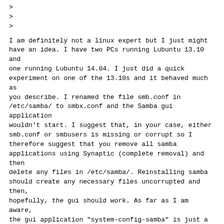>
>
>
I am definitely not a linux expert but I just might have an idea. I have two PCs running Lubuntu 13.10 and one running Lubuntu 14.04. I just did a quick experiment on one of the 13.10s and it behaved much as you describe. I renamed the file smb.conf in /etc/samba/ to smbx.conf and the Samba gui application wouldn't start. I suggest that, in your case, either smb.conf or smbusers is missing or corrupt so I therefore suggest that you remove all samba applications using Synaptic (complete removal) and then delete any files in /etc/samba/. Reinstalling samba should create any necessary files uncorrupted and then, hopefully, the gui should work. As far as I am aware, the gui application "system-config-samba" is just a convenient frontend which makes it easier to add valid entries to the smb.conf and smbusers files.
Previous message: sharing files between Windows XP and Lubuntu
Next message: Lubuntu-users Digest, Vol 39, Issue 30
Messages sorted by: [ date ] [ thread ] [ subject ] [ author ]